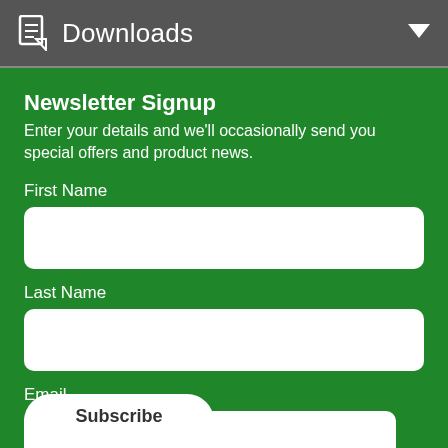Downloads
Newsletter Signup
Enter your details and we'll occasionally send you special offers and product news.
First Name
Last Name
Email
Subscribe